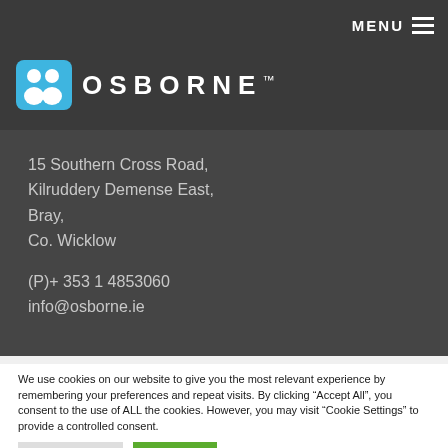MENU
[Figure (logo): Osborne logo with blue icon showing people silhouettes and white text OSBORNE with TM mark]
15 Southern Cross Road,
Kilruddery Demense East,
Bray,
Co. Wicklow
(P)+ 353 1 4853060
info@osborne.ie
We use cookies on our website to give you the most relevant experience by remembering your preferences and repeat visits. By clicking “Accept All”, you consent to the use of ALL the cookies. However, you may visit "Cookie Settings" to provide a controlled consent.
Cookie Settings | Accept All